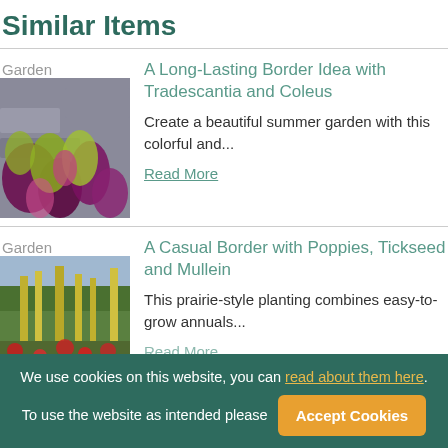Similar Items
Garden
[Figure (photo): Close-up of colorful coleus plants with purple and pink-green leaves against a stone background]
A Long-Lasting Border Idea with Tradescantia and Coleus
Create a beautiful summer garden with this colorful and...
Read More
Garden
[Figure (photo): A prairie-style garden with tall yellow plants and red poppies in a field with trees in the background]
A Casual Border with Poppies, Tickseed and Mullein
This prairie-style planting combines easy-to-grow annuals...
Read More
We use cookies on this website, you can read about them here. To use the website as intended please  Accept Cookies